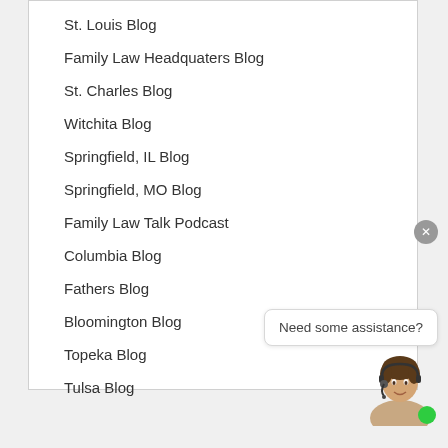St. Louis Blog
Family Law Headquaters Blog
St. Charles Blog
Witchita Blog
Springfield, IL Blog
Springfield, MO Blog
Family Law Talk Podcast
Columbia Blog
Fathers Blog
Bloomington Blog
Topeka Blog
Tulsa Blog
Need some assistance?